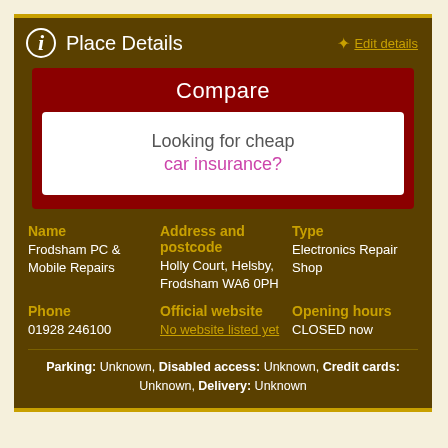Place Details
Edit details
[Figure (infographic): Advertisement box with red background. Header: 'Compare'. Inner white box with text: 'Looking for cheap car insurance?']
| Name | Address and postcode | Type |
| --- | --- | --- |
| Frodsham PC & Mobile Repairs | Holly Court, Helsby, Frodsham WA6 0PH | Electronics Repair Shop |
| Phone | Official website | Opening hours |
| --- | --- | --- |
| 01928 246100 | No website listed yet | CLOSED now |
Parking: Unknown, Disabled access: Unknown, Credit cards: Unknown, Delivery: Unknown